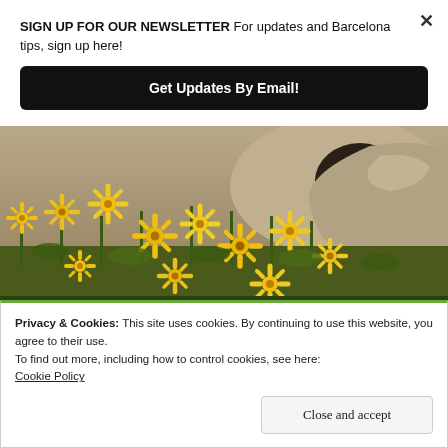SIGN UP FOR OUR NEWSLETTER For updates and Barcelona tips, sign up here!
Get Updates By Email!
[Figure (photo): Yellow daisy-like wildflowers growing among large grey rocks in a rocky hillside landscape]
Privacy & Cookies: This site uses cookies. By continuing to use this website, you agree to their use.
To find out more, including how to control cookies, see here:
Cookie Policy
Close and accept